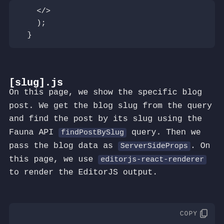</>  );
}
[slug].js
On this page, we show the specific blog post. We get the blog slug from the query and find the post by its slug using the Fauna API findPostBySlug query. Then we pass the blog data as ServerSideProps. On this page, we use editorjs-react-renderer to render the EditorJS output.